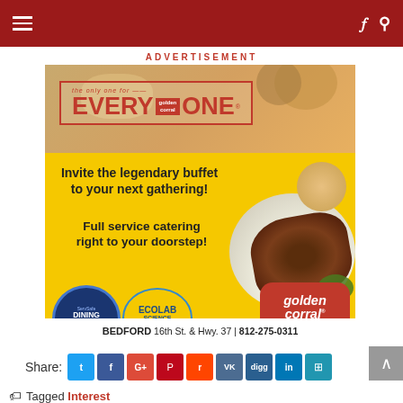Navigation header bar with hamburger menu, Facebook and search icons
ADVERTISEMENT
[Figure (infographic): Golden Corral advertisement. Yellow background ad with red bordered 'EVERY golden corral ONE' logo at top. Text reads: 'Invite the legendary buffet to your next gathering! Full service catering right to your doorstep!' Badges: ServSafe Dining Commitment 2021, ECOLAB Science Certified. Golden Corral Buffet & Grill logo. Address: BEDFORD 16th St. & Hwy. 37 | 812-275-0311]
Share:
Tagged Interest